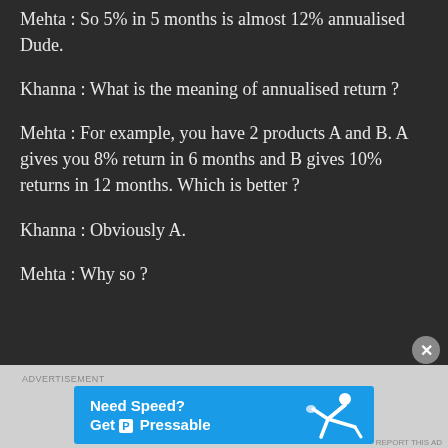Mehta : So 5% in 5 months is almost 12% annualised Dude.
Khanna : What is the meaning of annualised return ?
Mehta : For example, you have 2 products A and B. A gives you 8% return in 6 months and B gives 10% returns in 12 months. Which is better ?
Khanna : Obviously A.
Mehta : Why so ?
[Figure (screenshot): Advertisement banner for Pressable hosting — blue banner with 'Need Speed? Get P Pressable' text and a soccer player figure on right.]